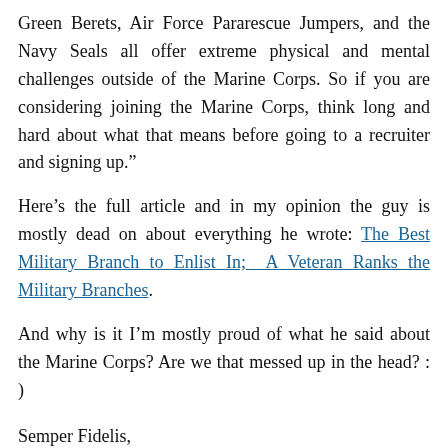Green Berets, Air Force Pararescue Jumpers, and the Navy Seals all offer extreme physical and mental challenges outside of the Marine Corps. So if you are considering joining the Marine Corps, think long and hard about what that means before going to a recruiter and signing up.”
Here’s the full article and in my opinion the guy is mostly dead on about everything he wrote: The Best Military Branch to Enlist In; A Veteran Ranks the Military Branches.
And why is it I’m mostly proud of what he said about the Marine Corps? Are we that messed up in the head? : )
Semper Fidelis,
Stan R. Mitchell